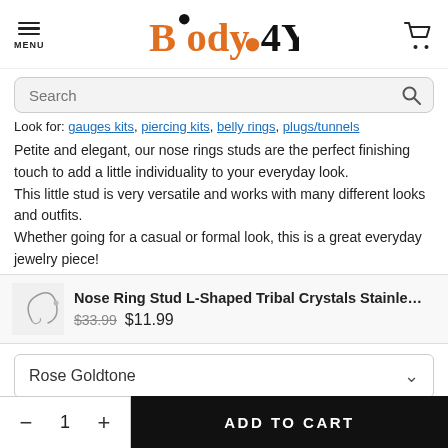[Figure (logo): Body4You logo with orange and black dot accents]
Search
Look for: gauges kits, piercing kits, belly rings, plugs/tunnels
Petite and elegant, our nose rings studs are the perfect finishing touch to add a little individuality to your everyday look.
This little stud is very versatile and works with many different looks and outfits.
Whether going for a casual or formal look, this is a great everyday jewelry piece!
Nose Ring Stud L-Shaped Tribal Crystals Stainle…
$33.99  $11.99
Rose Goldtone
− 1 +  ADD TO CART